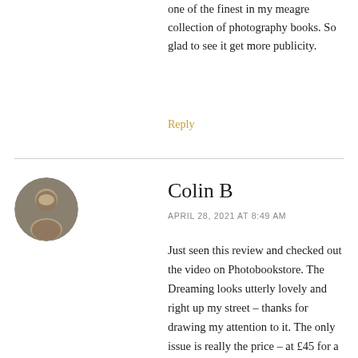one of the finest in my meagre collection of photography books. So glad to see it get more publicity.
Reply
Colin B
APRIL 28, 2021 AT 8:49 AM
Just seen this review and checked out the video on Photobookstore. The Dreaming looks utterly lovely and right up my street – thanks for drawing my attention to it. The only issue is really the price – at £45 for a softback it's pretty steep. I suspect the photographer isn't making much money out of this at all so I'm not accusing anybody of profiteering. It's just a shame that the apparent cost of producing books like this puts it out of the price range for many people. Still a lovely book though!